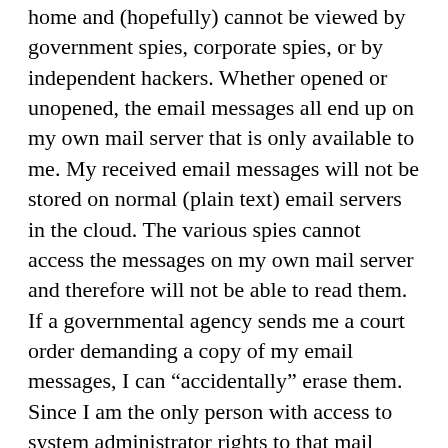home and (hopefully) cannot be viewed by government spies, corporate spies, or by independent hackers. Whether opened or unopened, the email messages all end up on my own mail server that is only available to me. My received email messages will not be stored on normal (plain text) email servers in the cloud. The various spies cannot access the messages on my own mail server and therefore will not be able to read them. If a governmental agency sends me a court order demanding a copy of my email messages, I can “accidentally” erase them. Since I am the only person with access to system administrator rights to that mail server, I can control who can receive copies.
If the email messages were sent by by my correspondents as ENCRYPTED email, even those messages can not be intercepted en